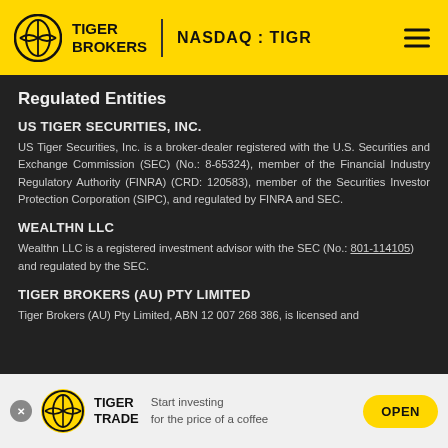TIGER BROKERS | NASDAQ : TIGR
Regulated Entities
US TIGER SECURITIES, INC.
US Tiger Securities, Inc. is a broker-dealer registered with the U.S. Securities and Exchange Commission (SEC) (No.: 8-65324), member of the Financial Industry Regulatory Authority (FINRA) (CRD: 120583), member of the Securities Investor Protection Corporation (SIPC), and regulated by FINRA and SEC.
WEALTHN LLC
Wealthn LLC is a registered investment advisor with the SEC (No.: 801-114105) and regulated by the SEC.
TIGER BROKERS (AU) PTY LIMITED
Tiger Brokers (AU) Pty Limited, ABN 12 007 268 386, is licensed and
[Figure (logo): Tiger Trade app banner with logo, brand name, tagline and OPEN button]